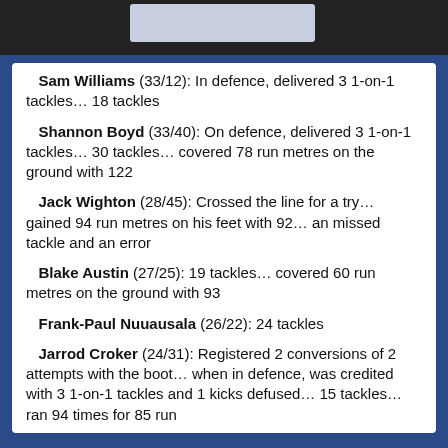Sam Williams (33/12): In defence, delivered 3 1-on-1 tackles… 18 tackles
Shannon Boyd (33/40): On defence, delivered 3 1-on-1 tackles… 30 tackles… covered 78 run metres on the ground with 122
Jack Wighton (28/45): Crossed the line for a try… gained 94 run metres on his feet with 92… an missed tackle and an error
Blake Austin (27/25): 19 tackles… covered 60 run metres on the ground with 93
Frank-Paul Nuuausala (26/22): 24 tackles
Jarrod Croker (24/31): Registered 2 conversions of 2 attempts with the boot… when in defence, was credited with 3 1-on-1 tackles and 1 kicks defused… 15 tackles… ran 94 times for 85 run